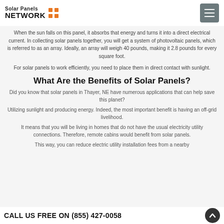Solar Panels NETWORK
When the sun falls on this panel, it absorbs that energy and turns it into a direct electrical current. In collecting solar panels together, you will get a system of photovoltaic panels, which is referred to as an array. Ideally, an array will weigh 40 pounds, making it 2.8 pounds for every square foot.
For solar panels to work efficiently, you need to place them in direct contact with sunlight.
What Are the Benefits of Solar Panels?
Did you know that solar panels in Thayer, NE have numerous applications that can help save this planet?
Utilizing sunlight and producing energy. Indeed, the most important benefit is having an off-grid livelihood.
It means that you will be living in homes that do not have the usual electricity utility connections. Therefore, remote cabins would benefit from solar panels.
This way, you can reduce electric utility installation fees from a nearby...
CALL US FREE ON (855) 427-0058